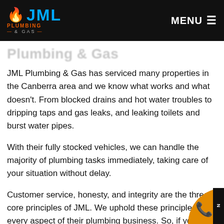JML Plumbing & Gas — MENU
Plumbing & Gas
JML Plumbing & Gas has serviced many properties in the Canberra area and we know what works and what doesn't. From blocked drains and hot water troubles to dripping taps and gas leaks, and leaking toilets and burst water pipes.
With their fully stocked vehicles, we can handle the majority of plumbing tasks immediately, taking care of your situation without delay.
Customer service, honesty, and integrity are the three core principles of JML. We uphold these principles in every aspect of their plumbing business. So, if yo...